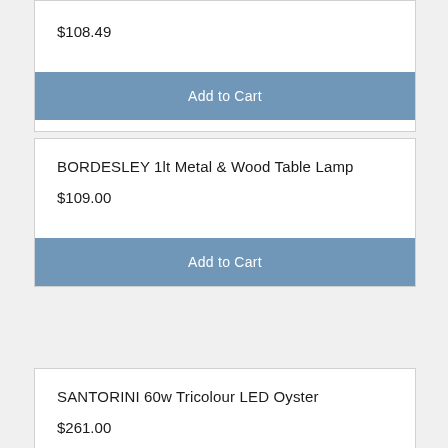$108.49
Add to Cart
BORDESLEY 1lt Metal & Wood Table Lamp
$109.00
Add to Cart
SANTORINI 60w Tricolour LED Oyster
$261.00
Add to Cart